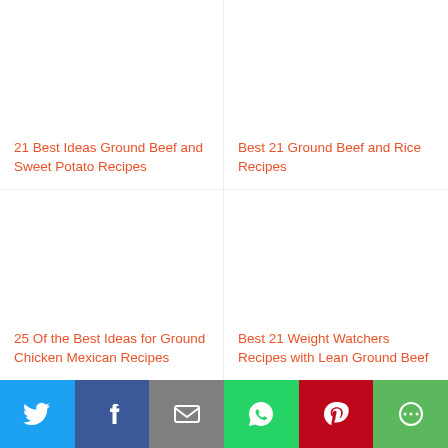21 Best Ideas Ground Beef and Sweet Potato Recipes
Best 21 Ground Beef and Rice Recipes
25 Of the Best Ideas for Ground Chicken Mexican Recipes
Best 21 Weight Watchers Recipes with Lean Ground Beef